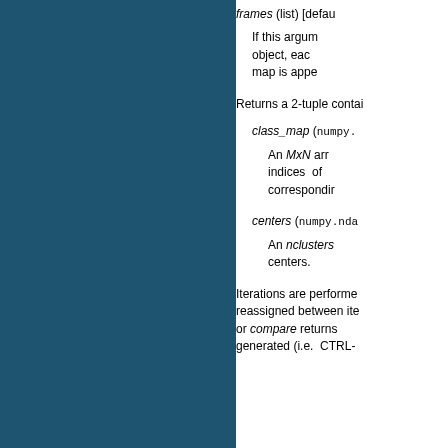frames (list) [defau
If this argum object, eac map is appe
Returns a 2-tuple contai
class_map (numpy.
An MxN arra indices of correspondir
centers (numpy.nda
An nclusters centers.
Iterations are performe reassigned between ite or compare returns generated (i.e. CTRL-